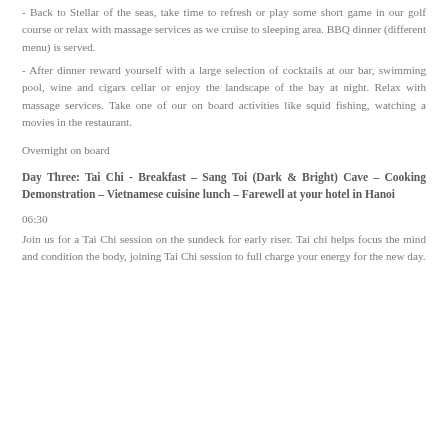- Back to Stellar of the seas, take time to refresh or play some short game in our golf course or relax with massage services as we cruise to sleeping area. BBQ dinner (different menu) is served.
- After dinner reward yourself with a large selection of cocktails at our bar, swimming pool, wine and cigars cellar or enjoy the landscape of the bay at night. Relax with massage services. Take one of our on board activities like squid fishing, watching a movies in the restaurant.
Overnight on board
Day Three: Tai Chi - Breakfast – Sang Toi (Dark & Bright) Cave – Cooking Demonstration – Vietnamese cuisine lunch – Farewell at your hotel in Hanoi
06:30
Join us for a Tai Chi session on the sundeck for early riser. Tai chi helps focus the mind and condition the body, joining Tai Chi session to full charge your energy for the new day.